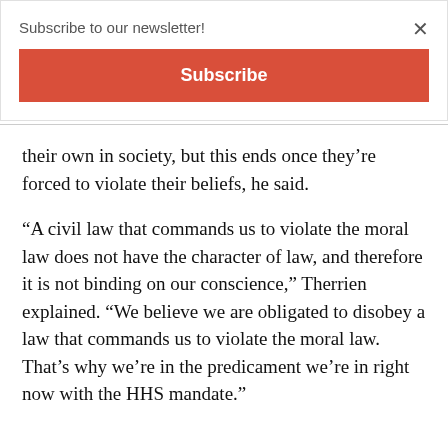Subscribe to our newsletter!
Subscribe
their own in society, but this ends once they're forced to violate their beliefs, he said.
“A civil law that commands us to violate the moral law does not have the character of law, and therefore it is not binding on our conscience,” Therrien explained. “We believe we are obligated to disobey a law that commands us to violate the moral law. That’s why we’re in the predicament we’re in right now with the HHS mandate.”